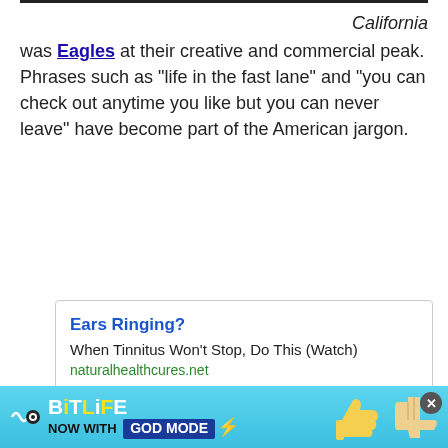California was Eagles at their creative and commercial peak. Phrases such as “life in the fast lane” and “you can check out anytime you like but you can never leave” have become part of the American jargon.
[Figure (infographic): Advertisement box: 'Ears Ringing? When Tinnitus Won't Stop, Do This (Watch)' from naturalhealthcures.net, with a photo of a person tilting head and a play button circle]
[Figure (infographic): BitLife banner ad: 'NOW WITH GOD MODE' with lightning bolt styling, thumbs up emoji, and hand pointing, with close button]